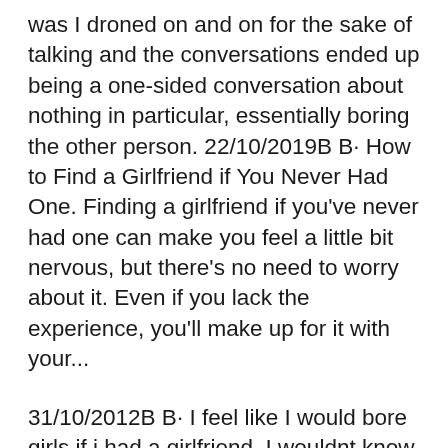was I droned on and on for the sake of talking and the conversations ended up being a one-sided conversation about nothing in particular, essentially boring the other person. 22/10/2019B B· How to Find a Girlfriend if You Never Had One. Finding a girlfriend if you've never had one can make you feel a little bit nervous, but there's no need to worry about it. Even if you lack the experience, you'll make up for it with your...
31/10/2012B B· I feel like I would bore girls if i had a girlfriend. I wouldnt know what to talk about. Im not unsociable at all, but i just feel like i have to make her laugh all the time or she will think im